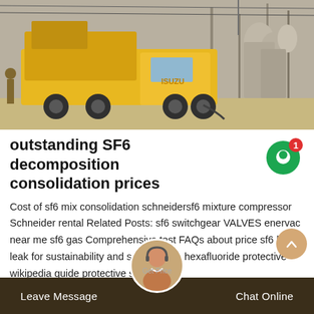[Figure (photo): Yellow Isuzu truck with equipment at an electrical substation/industrial site. The truck has special equipment mounted on the back. Power transmission infrastructure and metal structures visible in background.]
outstanding SF6 decomposition consolidation prices
Cost of sf6 mix consolidation schneidersf6 mixture compressor Schneider rental Related Posts: sf6 switchgear VALVES enervac near me sf6 gas Comprehensive test FAQs about price sf6 leak leak for sustainability and safety sulfur hexafluoride protective wikipedia guide protective se...ost
Leave Message   Get Price   Chat Online